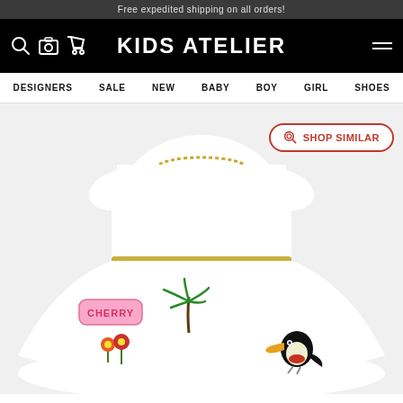Free expedited shipping on all orders!
KIDS ATELIER
DESIGNERS  SALE  NEW  BABY  BOY  GIRL  SHOES
[Figure (photo): White children's dress with gold chain neckline, gold glitter belt, and colorful embroidered patches: CHERRY text patch, palm tree, tropical bird (toucan), flowers/mushrooms, and other tropical motifs on full skirt. Product photo on white/light grey background.]
SHOP SIMILAR